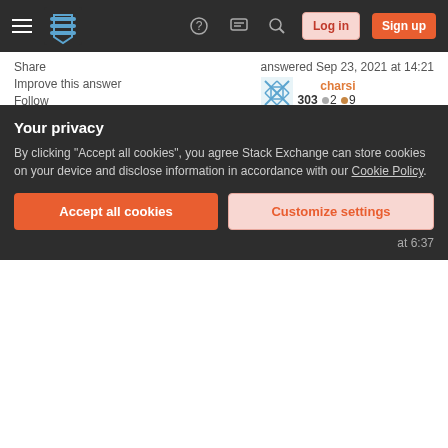Stack Exchange navigation bar with hamburger menu, logo, help, chat, search icons, Log in and Sign up buttons
Share
Improve this answer
Follow
answered Sep 23, 2021 at 14:21
charsi
303 ●2 ●9
Add a comment
If you have facing the issue in low disk space in android studio,just delete the unwanted emulator in your AVD manager.I wasted the whole to try other things.it help full to any one.it working for me.
Share
answered Nov 15, 2018 at 13:00
Your privacy
By clicking "Accept all cookies", you agree Stack Exchange can store cookies on your device and disclose information in accordance with our Cookie Policy.
Accept all cookies
Customize settings